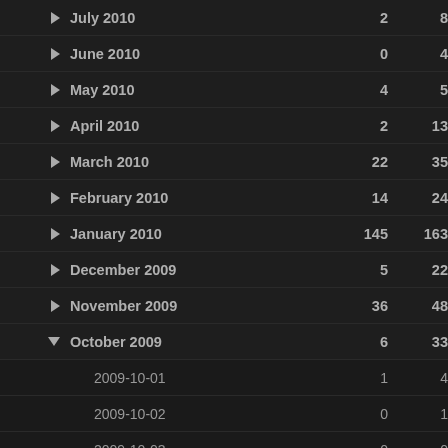July 2010 | 2 | 8
June 2010 | 0 | 4
May 2010 | 4 | 5
April 2010 | 2 | 13
March 2010 | 22 | 35
February 2010 | 14 | 24
January 2010 | 145 | 163
December 2009 | 5 | 22
November 2009 | 36 | 48
October 2009 (expanded) | 6 | 33
2009-10-01 | 1 | 4
2009-10-02 | 0 | 1
2009-10-03 | 0 | 0
2009-10-04 | 0 | 2
2009-10-05 | 0 | 1
2009-10-06 | 0 | 0
2009-10-07 | 0 | 2
2009-10-08 | 2 | 3